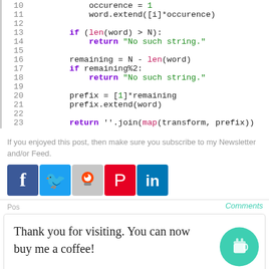[Figure (screenshot): Python code snippet showing lines 10-23 with syntax highlighting. Line 10: occurence = 1, Line 11: word.extend([i]*occurence), Line 12: blank, Line 13: if (len(word) > N):, Line 14: return 'No such string.', Line 15: blank, Line 16: remaining = N - len(word), Line 17: if remaining%2:, Line 18: return 'No such string.', Line 19: blank, Line 20: prefix = [1]*remaining, Line 21: prefix.extend(word), Line 22: blank, Line 23: return ''.join(map(transform, prefix))]
If you enjoyed this post, then make sure you subscribe to my Newsletter and/or Feed.
[Figure (screenshot): Social media sharing icons: Facebook, Twitter, Reddit, Pinterest, LinkedIn]
Thank you for visiting. You can now buy me a coffee!